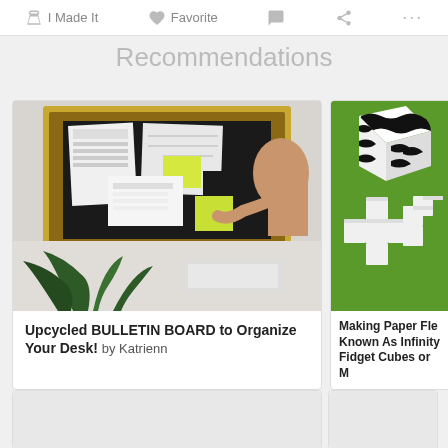I Made It  Favorite  ...
Recommendations
[Figure (photo): Photo of an upcycled bulletin board in an ornate gold frame mounted on a wall, with papers and sticky notes pinned to it, a person reaching to add a note, and a plant in the foreground]
Upcycled BULLETIN BOARD to Organize Your Desk! by Katrienn
[Figure (photo): Photo of white paper flex cubes (infinity cubes / fidget cubes) on a green background, including a black and white patterned version and white cross-shaped pieces]
Making Paper Fle Known As Infinity Fidget Cubes or M